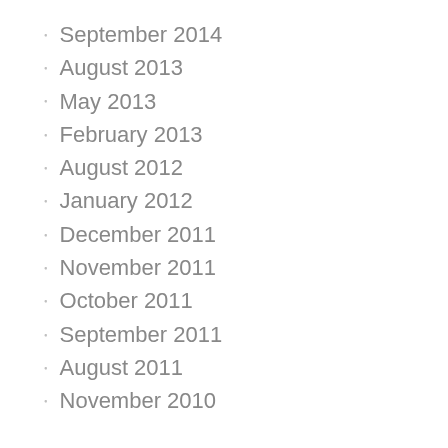September 2014
August 2013
May 2013
February 2013
August 2012
January 2012
December 2011
November 2011
October 2011
September 2011
August 2011
November 2010